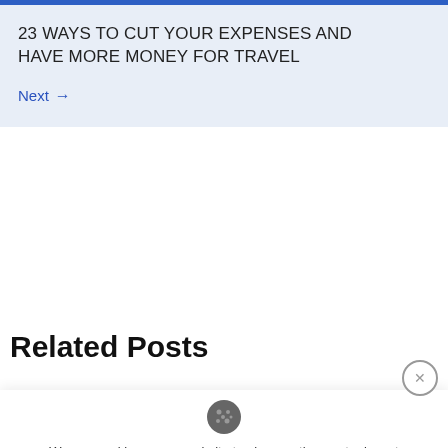23 WAYS TO CUT YOUR EXPENSES AND HAVE MORE MONEY FOR TRAVEL
Next →
Related Posts
We use cookies on our website to give you the most relevant experience. By continuing to use the site, you agree to the use of cookies.